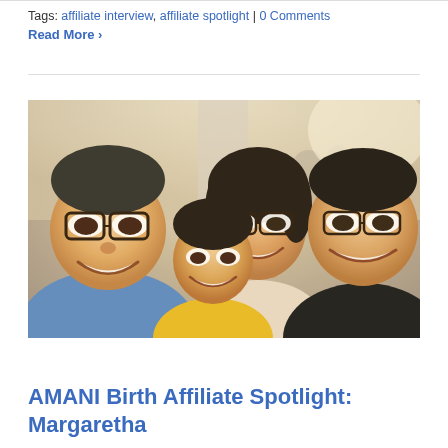Tags: affiliate interview, affiliate spotlight | 0 Comments
Read More ›
[Figure (photo): Group selfie photo of four people smiling — a man with glasses on the left in a blue shirt, a child in a yellow shirt in the center, a woman with glasses, and a man in a black shirt on the right. Background shows a busy public space.]
AMANI Birth Affiliate Spotlight: Margaretha